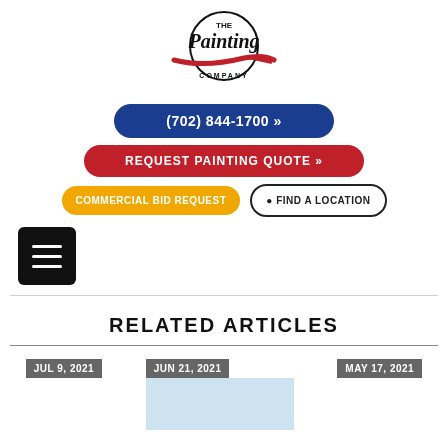[Figure (logo): The Painting Company logo with paint brush graphic]
(702) 844-1700 »
REQUEST PAINTING QUOTE »
COMMERCIAL BID REQUEST
📍 FIND A LOCATION
[Figure (other): Hamburger menu icon (three horizontal lines) in a black rounded square]
RELATED ARTICLES
JUL 9, 2021
JUN 21, 2021
MAY 17, 2021